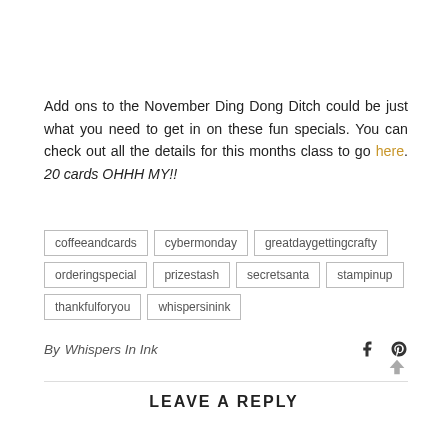Add ons to the November Ding Dong Ditch could be just what you need to get in on these fun specials. You can check out all the details for this months class to go here. 20 cards OHHH MY!!
coffeeandcards
cybermonday
greatdaygettingcrafty
orderingspecial
prizestash
secretsanta
stampinup
thankfulforyou
whispersinink
By Whispers In Ink
LEAVE A REPLY